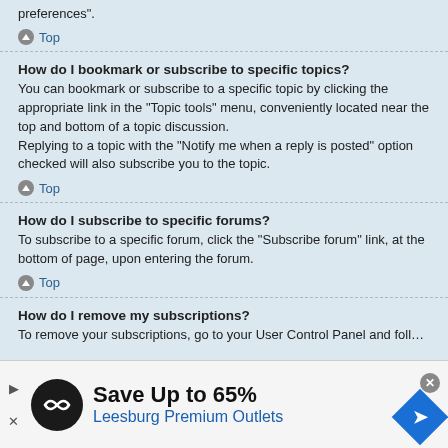preferences".
Top
How do I bookmark or subscribe to specific topics?
You can bookmark or subscribe to a specific topic by clicking the appropriate link in the "Topic tools" menu, conveniently located near the top and bottom of a topic discussion.
Replying to a topic with the “Notify me when a reply is posted” option checked will also subscribe you to the topic.
Top
How do I subscribe to specific forums?
To subscribe to a specific forum, click the “Subscribe forum” link, at the bottom of page, upon entering the forum.
Top
How do I remove my subscriptions?
To remove your subscriptions, go to your User Control Panel and follow the links
[Figure (infographic): Advertisement banner: Save Up to 65% Leesburg Premium Outlets with logo and navigation icon]